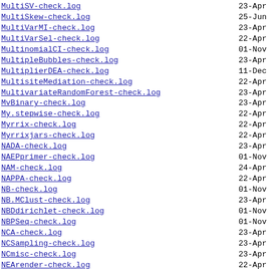MultiSV-check.log    23-Apr
MultiSkew-check.log    25-Jun
MultiVarMI-check.log    23-Apr
MultiVarSel-check.log    22-Apr
MultinomialCI-check.log    01-Nov
MultipleBubbles-check.log    23-Apr
MultiplierDEA-check.log    11-Dec
MultisiteMediation-check.log    22-Apr
MultivariateRandomForest-check.log    23-Apr
MvBinary-check.log    23-Apr
My.stepwise-check.log    22-Apr
Myrrix-check.log    22-Apr
Myrrixjars-check.log    22-Apr
NADA-check.log    23-Apr
NAEPprimer-check.log    01-Nov
NAM-check.log    24-Apr
NAPPA-check.log    22-Apr
NB-check.log    01-Nov
NB.MClust-check.log    23-Apr
NBDdirichlet-check.log    01-Nov
NBPSeq-check.log    01-Nov
NCA-check.log    23-Apr
NCSampling-check.log    23-Apr
NCmisc-check.log    23-Apr
NEArender-check.log    22-Apr
NEff-check.log    23-Apr
NEpiC-check.log    23-Apr
NFP-check.log    24-Apr
NHANES-check.log    22-Apr
NHEMOtree-check.log    22-Apr